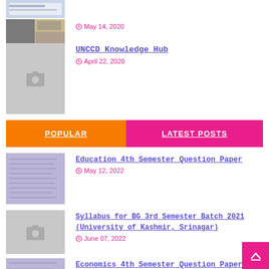[Figure (screenshot): Website screenshot thumbnail (top)]
[Figure (photo): Calligraphy/photos thumbnail (bottom)]
May 14, 2020
UNCCD Knowledge Hub
April 22, 2020
[Figure (photo): Gray placeholder with camera icon]
POPULAR
LATEST POSTS
Education 4th Semester Question Paper
May 12, 2022
[Figure (photo): Purple question paper thumbnail]
Syllabus for BG 3rd Semester Batch 2021 (University of Kashmir, Srinagar)
June 07, 2022
[Figure (photo): Gray placeholder with camera icon]
Economics 4th Semester Question Paper
May 12, 2022
[Figure (photo): Purple question paper thumbnail (bottom)]